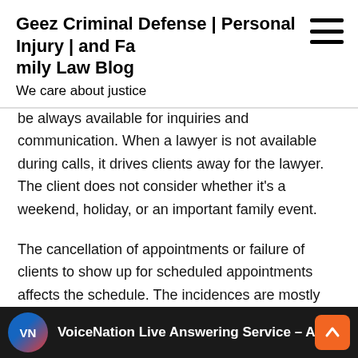Geez Criminal Defense | Personal Injury | and Family Law Blog
We care about justice
be always available for inquiries and communication. When a lawyer is not available during calls, it drives clients away for the lawyer. The client does not consider whether it's a weekend, holiday, or an important family event.
The cancellation of appointments or failure of clients to show up for scheduled appointments affects the schedule. The incidences are mostly attributed to miscommunication between the client and their attorney. Hence this is a primary reason that will make an attorney opt for live phone answering services.
[Figure (screenshot): VoiceNation Live Answering Service video banner with VN logo on dark background]